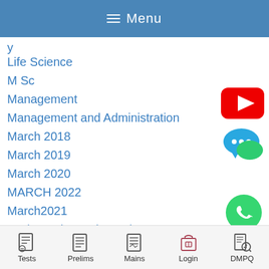Menu
Life Science
M Sc
Management
Management and Administration
March 2018
March 2019
March 2020
MARCH 2022
March2021
Mathematics and Stastics
May 2018
[Figure (logo): YouTube icon - red rounded rectangle with white play triangle]
[Figure (logo): Chat/messaging bubble icon - blue and green speech bubbles with ellipsis]
[Figure (logo): WhatsApp icon - green circle with white phone handset]
Tests  Prelims  Mains  Login  DMPQ